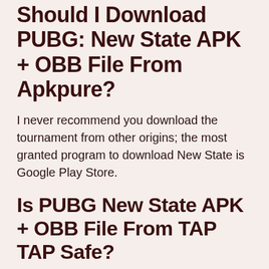Should I Download PUBG: New State APK + OBB File From Apkpure?
I never recommend you download the tournament from other origins; the most granted program to download New State is Google Play Store.
Is PUBG New State APK + OBB File From TAP TAP Safe?
There isn't any evidence about the security of the taptap.io APK + OBB update. But